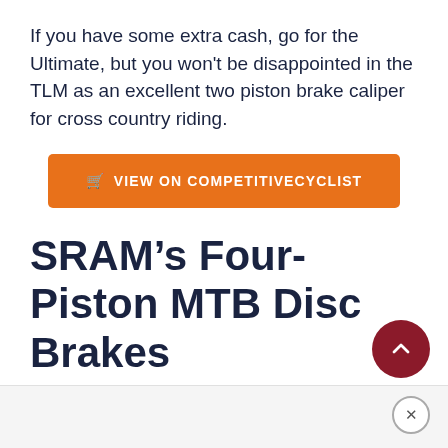If you have some extra cash, go for the Ultimate, but you won't be disappointed in the TLM as an excellent two piston brake caliper for cross country riding.
[Figure (other): Orange call-to-action button with shopping cart icon and text VIEW ON COMPETITIVECYCLIST]
SRAM’s Four-Piston MTB Disc Brakes
SRAM’s four-piston MTB disc brakes line-up is as follows: